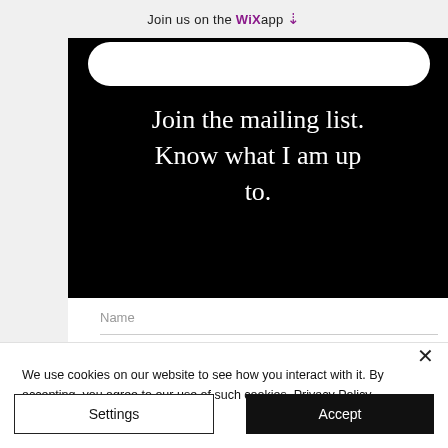Join us on the WiX app ⬇
Join the mailing list. Know what I am up to.
Name
Email Address
We use cookies on our website to see how you interact with it. By accepting, you agree to our use of such cookies. Privacy Policy
Settings
Accept